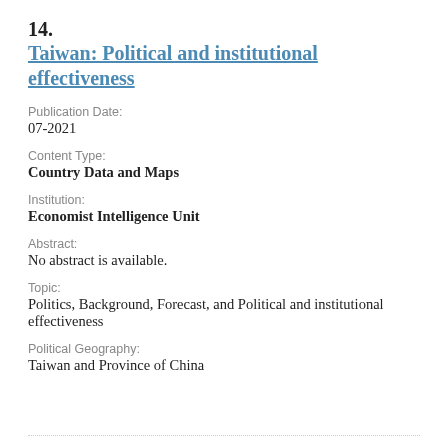14. Taiwan: Political and institutional effectiveness
Publication Date:
07-2021
Content Type:
Country Data and Maps
Institution:
Economist Intelligence Unit
Abstract:
No abstract is available.
Topic:
Politics, Background, Forecast, and Political and institutional effectiveness
Political Geography:
Taiwan and Province of China